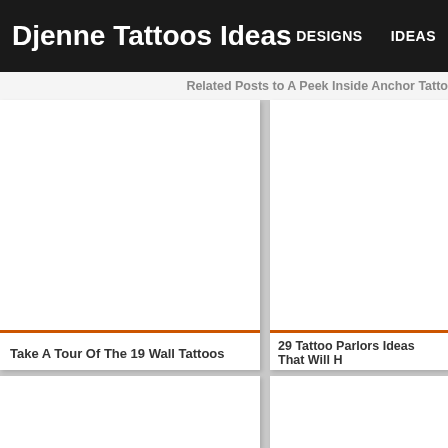Djenne Tattoos Ideas
DESIGNS   IDEAS
Related Posts to A Peek Inside Anchor Tatto
[Figure (screenshot): Empty white image card for 'Take A Tour Of The 19 Wall Tattoos']
Take A Tour Of The 19 Wall Tattoos
[Figure (screenshot): Empty white image card for '29 Tattoo Parlors Ideas That Will H']
29 Tattoo Parlors Ideas That Will H
[Figure (screenshot): Empty white image card (bottom left)]
[Figure (screenshot): Empty white image card (bottom right)]